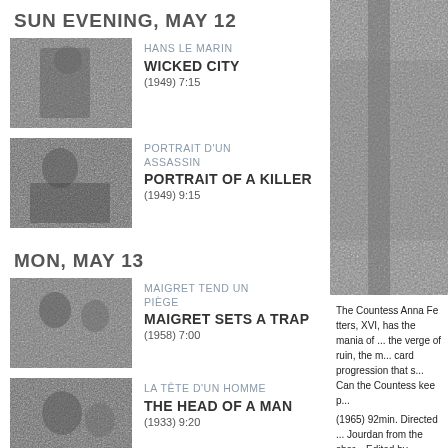SUN EVENING, MAY 12
HANS LE MARIN | WICKED CITY | (1949) 7:15
PORTRAIT D'UN ASSASSIN | PORTRAIT OF A KILLER | (1949) 9:15
MON, MAY 13
MAIGRET TEND UN PIÈGE | MAIGRET SETS A TRAP | (1958) 7:00
LA TÊTE D'UN HOMME | THE HEAD OF A MAN | (1933) 9:20
[Figure (photo): Black and white grainy photo, partially visible on the right side of the page]
The Countess Anna Fe... XVI, has the mania of ... the verge of ruin, the m... card progression that s... Can the Countess kee...
(1965) 92min. Directed... Jourdan from the shor... Edited by Andrée Worl...